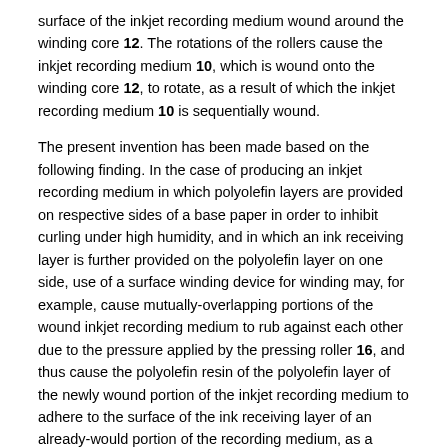surface of the inkjet recording medium wound around the winding core 12. The rotations of the rollers cause the inkjet recording medium 10, which is wound onto the winding core 12, to rotate, as a result of which the inkjet recording medium 10 is sequentially wound.
The present invention has been made based on the following finding. In the case of producing an inkjet recording medium in which polyolefin layers are provided on respective sides of a base paper in order to inhibit curling under high humidity, and in which an ink receiving layer is further provided on the polyolefin layer on one side, use of a surface winding device for winding may, for example, cause mutually-overlapping portions of the wound inkjet recording medium to rub against each other due to the pressure applied by the pressing roller 16, and thus cause the polyolefin resin of the polyolefin layer of the newly wound portion of the inkjet recording medium to adhere to the surface of the ink receiving layer of an already-would portion of the recording medium, as a result of which fog-like unevenness may occur in the ink receiving layer.
Further, in a case in which the coating speed for the formation of the ink receiving layer is increased, or the winding length to be wound around the winding core is increased in order to improve productivity, the pressure applied by the pressing roller 16 needs to be increased so as to prevent deviation of winding. However, an increase in the pressure applied by the pressing roller 16 makes it more likely that unevenness caused by the